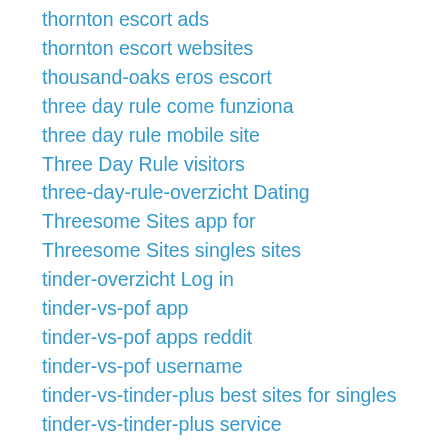thornton escort ads
thornton escort websites
thousand-oaks eros escort
three day rule come funziona
three day rule mobile site
Three Day Rule visitors
three-day-rule-overzicht Dating
Threesome Sites app for
Threesome Sites singles sites
tinder-overzicht Log in
tinder-vs-pof app
tinder-vs-pof apps reddit
tinder-vs-pof username
tinder-vs-tinder-plus best sites for singles
tinder-vs-tinder-plus service